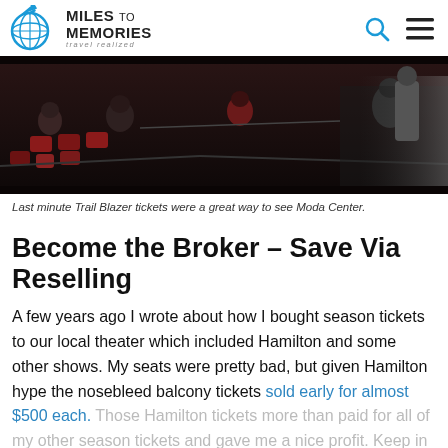Miles to Memories – travel realized
[Figure (photo): Audience seated in a dark theater/arena venue, people visible from behind, red seats, Moda Center interior.]
Last minute Trail Blazer tickets were a great way to see Moda Center.
Become the Broker – Save Via Reselling
A few years ago I wrote about how I bought season tickets to our local theater which included Hamilton and some other shows. My seats were pretty bad, but given Hamilton hype the nosebleed balcony tickets sold early for almost $500 each. Those Hamilton tickets more than paid for all of my other season tickets and gave me a nice profit. Keep in mind